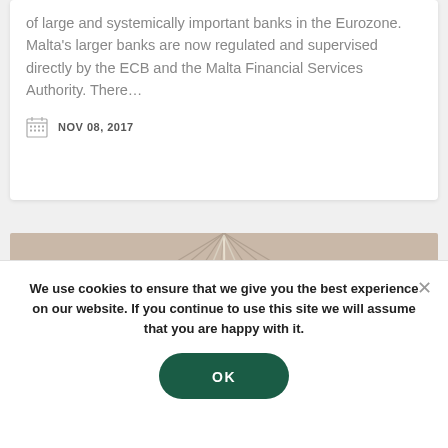of large and systemically important banks in the Eurozone. Malta's larger banks are now regulated and supervised directly by the ECB and the Malta Financial Services Authority. There...
NOV 08, 2017
[Figure (photo): Interior architectural photo showing a ceiling with converging lines and recessed lighting.]
We use cookies to ensure that we give you the best experience on our website. If you continue to use this site we will assume that you are happy with it.